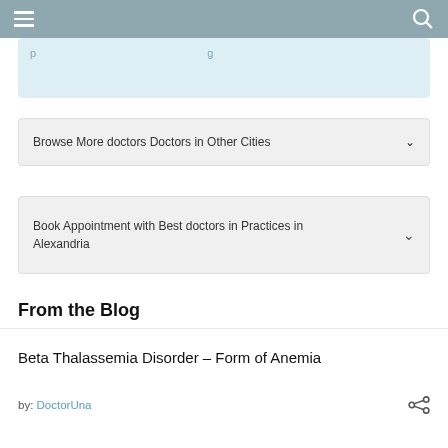p ... g
Browse More doctors Doctors in Other Cities
Book Appointment with Best doctors in Practices in Alexandria
From the Blog
Beta Thalassemia Disorder – Form of Anemia
by: DoctorUna